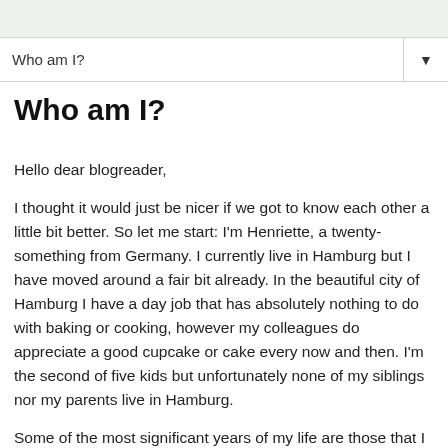Who am I?
Who am I?
Hello dear blogreader,
I thought it would just be nicer if we got to know each other a little bit better. So let me start: I'm Henriette, a twenty-something from Germany. I currently live in Hamburg but I have moved around a fair bit already. In the beautiful city of Hamburg I have a day job that has absolutely nothing to do with baking or cooking, however my colleagues do appreciate a good cupcake or cake every now and then. I'm the second of five kids but unfortunately none of my siblings nor my parents live in Hamburg.
Some of the most significant years of my life are those that I